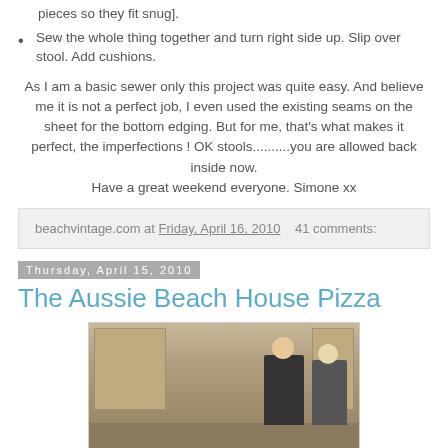pieces so they fit snug].
Sew the whole thing together and turn right side up. Slip over stool. Add cushions.
As I am a basic sewer only this project was quite easy. And believe me it is not a perfect job, I even used the existing seams on the sheet for the bottom edging. But for me, that's what makes it perfect, the imperfections ! OK stools..........you are allowed back inside now.
Have a great weekend everyone. Simone xx
beachvintage.com at Friday, April 16, 2010   41 comments:
Thursday, April 15, 2010
The Aussie Beach House Pizza
[Figure (photo): Two people standing in a kitchen with cabinets and countertops visible]